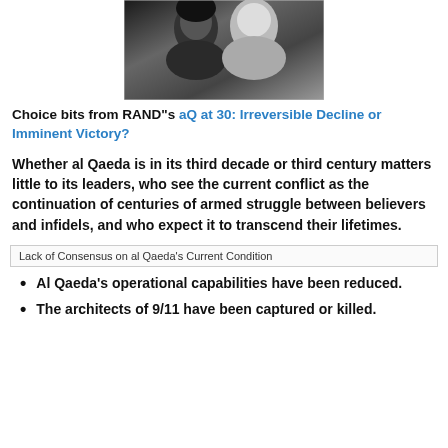[Figure (photo): Black and white photo of two women posing together, one with dark hair and one with light/blonde hair]
Choice bits from RAND"s aQ at 30: Irreversible Decline or Imminent Victory?
Whether al Qaeda is in its third decade or third century matters little to its leaders, who see the current conflict as the continuation of centuries of armed struggle between believers and infidels, and who expect it to transcend their lifetimes.
Lack of Consensus on al Qaeda's Current Condition
Al Qaeda's operational capabilities have been reduced.
The architects of 9/11 have been captured or killed.